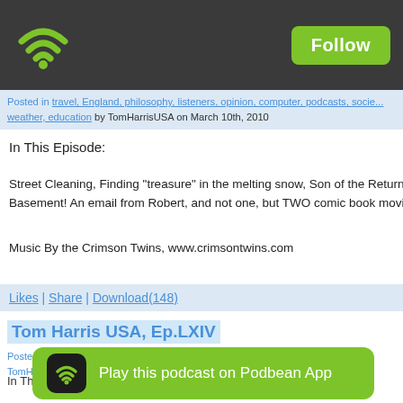Follow
Posted in travel, England, philosophy, listeners, opinion, computer, podcasts, society, weather, education by TomHarrisUSA on March 10th, 2010
In This Episode:
Street Cleaning, Finding "treasure" in the melting snow, Son of the Return of the Basement! An email from Robert, and not one, but TWO comic book movie revi
Music By the Crimson Twins, www.crimsontwins.com
Likes | Share | Download(148)
Tom Harris USA, Ep.LXIV
Posted in listeners, opinion, psychic, truth, society, movies, elves, food, weather, s TomHarrisUSA
In This Epi
Play this podcast on Podbean App